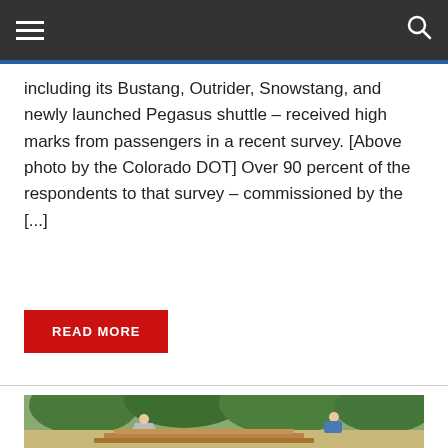Navigation bar with hamburger menu and search icon
including its Bustang, Outrider, Snowstang, and newly launched Pegasus shuttle – received high marks from passengers in a recent survey. [Above photo by the Colorado DOT] Over 90 percent of the respondents to that survey – commissioned by the [...]
READ MORE
[Figure (photo): Outdoor scene showing people working with wooden materials, surrounded by green trees and foliage in the background.]